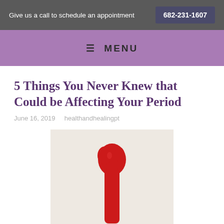Give us a call to schedule an appointment   682-231-1607
≡ MENU
5 Things You Never Knew that Could be Affecting Your Period
June 16, 2019   healthandhealingpt
[Figure (photo): A red drop or paint-like shape on a light beige/cream background, photographed from above, representing a period-related health blog post.]